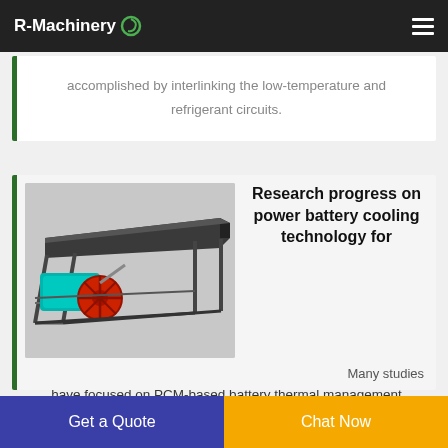R-Machinery
accomplished by interlinking the low-temperature and refrigerant circuits.
[Figure (photo): Industrial shaking table machine with teal motor and red flywheel on metal frame]
Research progress on power battery cooling technology for
Many studies
have focused on PCM-based battery thermal management
Get a Quote
Chat Now